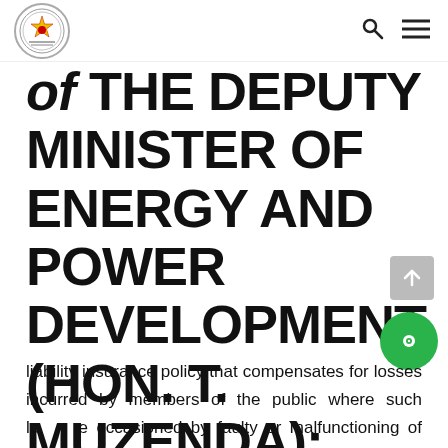Parliament of Zimbabwe logo, search icon, menu icon
of THE DEPUTY MINISTER OF ENERGY AND POWER DEVELOPMENT (HON. T. MUZENDA):  ZESA has a public
liability insurance policy that compensates for losses incurred by members of the public where such losses are occasioned by faulty or malfunctioning of ZESA network equipment.  All such losses are submitted to the insurer